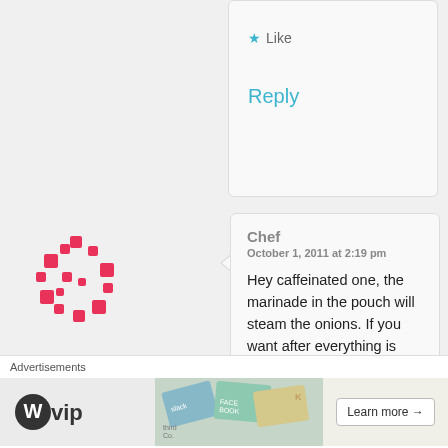Like
Reply
[Figure (illustration): Pink dotted circular avatar placeholder icon]
Chef
October 1, 2011 at 2:19 pm
Hey caffeinated one, the marinade in the pouch will steam the onions. If you want after everything is done you can add it back onto the cooked pork. Heating it in the pouch sterilizes it.
Advertisements
[Figure (logo): WordPress VIP logo with W circle icon and 'vip' text]
[Figure (illustration): Colorful cards/stickers advertisement image with slack, Facebook etc.]
Learn more →